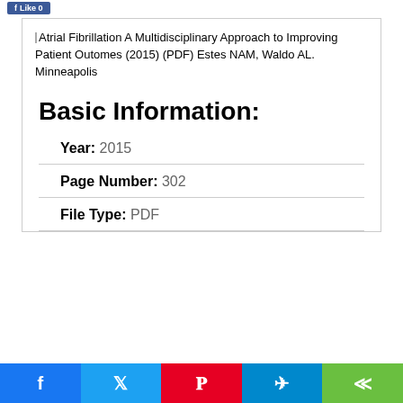[Figure (screenshot): Blue Facebook Like button at top left]
Atrial Fibrillation A Multidisciplinary Approach to Improving Patient Outomes (2015) (PDF) Estes NAM, Waldo AL. Minneapolis
Basic Information:
| Year: | 2015 |
| Page Number: | 302 |
| File Type: | PDF |
[Figure (screenshot): Social sharing bar at bottom: Facebook, Twitter, Pinterest, Telegram, Share buttons]